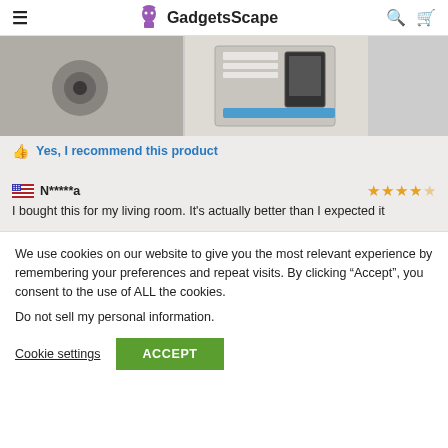GadgetsScape
[Figure (photo): Two product photos: left shows a grey surface with a circular hole, right shows a device with a digital display/screen]
Yes, I recommend this product
N*****a
I bought this for my living room. It's actually better than I expected it
We use cookies on our website to give you the most relevant experience by remembering your preferences and repeat visits. By clicking "Accept", you consent to the use of ALL the cookies.
Do not sell my personal information.
Cookie settings  ACCEPT